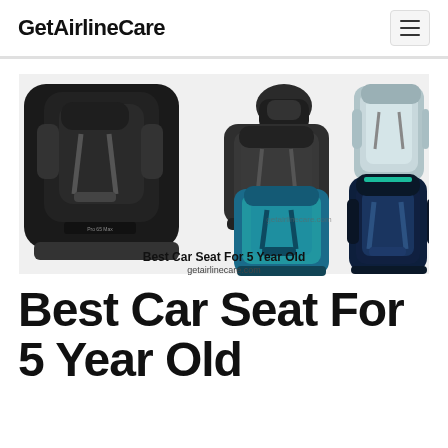GetAirlineCare
[Figure (photo): Collage of multiple car seats for 5-year-olds including Maxi-Cosi, Britax, Graco, and other brands in black, teal/blue, and gray colors, with overlay text 'Best Car Seat For 5 Year Old' and 'getairlinecare.com']
Best Car Seat For 5 Year Old
getairlinecare.com
Best Car Seat For